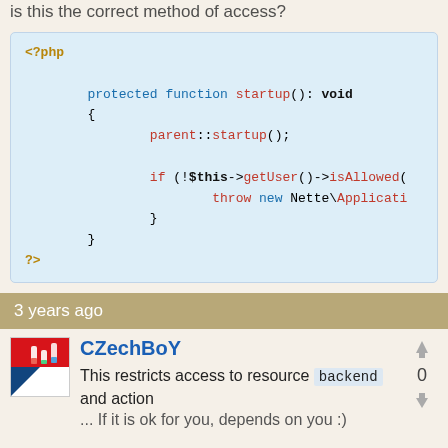is this the correct method of access?
[Figure (screenshot): PHP code block showing a protected function startup(): void with parent::startup() call and if (!$this->getUser()->isAllowed( ... throw new Nette\Applicati...]
3 years ago
[Figure (logo): CZechBoY user avatar with Czech flag and test tubes icon]
CZechBoY
0
This restricts access to resource backend and action ... If it is ok for you, depends on you :)